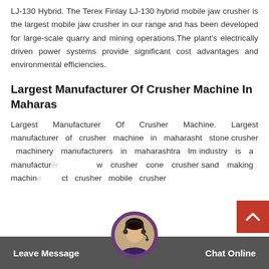LJ-130 Hybrid. The Terex Finlay LJ-130 hybrid mobile jaw crusher is the largest mobile jaw crusher in our range and has been developed for large-scale quarry and mining operations.The plant's electrically driven power systems provide significant cost advantages and environmental efficiencies.
Largest Manufacturer Of Crusher Machine In Maharas
Largest Manufacturer Of Crusher Machine. Largest manufacturer of crusher machine in maharasht stone crusher machinery manufacturers in maharashtra lm industry is a manufacturer jaw crusher cone crusher sand making machine vsi impact crusher mobile crusher
[Figure (photo): Chat support avatar showing a woman with headset]
Leave Message   Chat Online